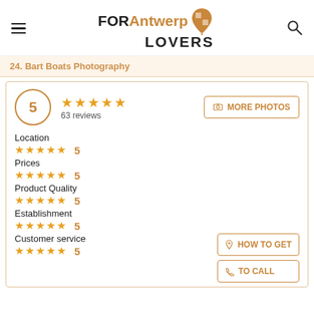FOR Antwerp LOVERS
24. Bart Boats Photography
5 ★★★★★ 63 reviews
MORE PHOTOS
Location ★★★★★ 5
Prices ★★★★★ 5
Product Quality ★★★★★ 5
Establishment ★★★★★ 5
Customer service ★★★★★ 5
HOW TO GET
TO CALL